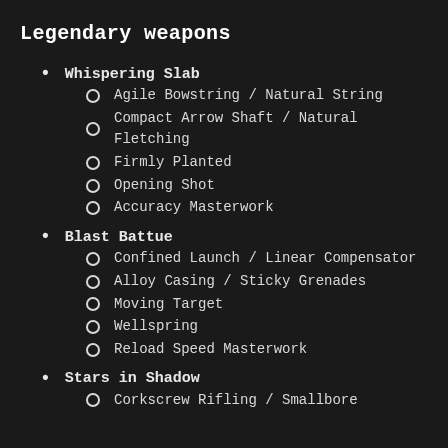Legendary weapons
Whispering Slab
Agile Bowstring / Natural String
Compact Arrow Shaft / Natural Fletching
Firmly Planted
Opening Shot
Accuracy Masterwork
Blast Battue
Confined Launch / Linear Compensator
Alloy Casing / Sticky Grenades
Moving Target
Wellspring
Reload Speed Masterwork
Stars in Shadow
Corkscrew Rifling / Smallbore